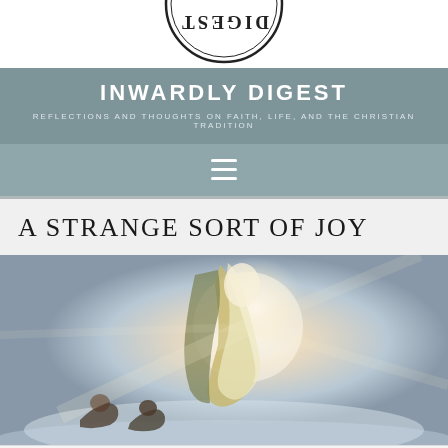[Figure (logo): Circular logo with ornate lettering partially visible at top of page (DIGEST)]
INWARDLY DIGEST
REFLECTIONS AND THOUGHTS ON FAITH, LIFE, AND THE CHRISTIAN TRADITION
[Figure (other): Navigation bar with hamburger menu icon (three horizontal lines)]
A STRANGE SORT OF JOY
[Figure (illustration): Religious painting depicting a robed figure ascending with a radiant glow, with two figures kneeling below]
Follow